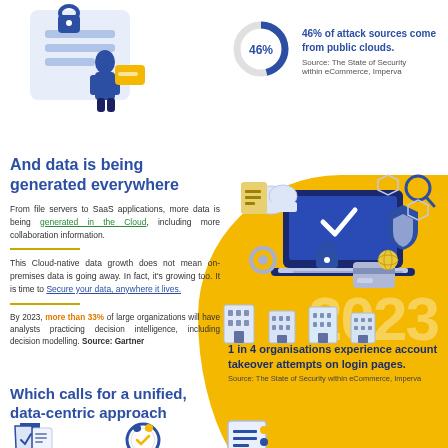[Figure (donut-chart): 46% of attack sources]
46% of attack sources come from public clouds.
Source: The State of Security within eCommerce, Imperva
And data is being generated everywhere
From file servers to SaaS applications, more data is being generated in the Cloud, including more collaboration information.
This Cloud-native data growth does not mean on-premises data is going away. In fact, it's growing too. It is time to Secure your data, anywhere it lives.
By 2023, more than 33% of large organizations will have analysts practicing decision intelligence, including decision modelling. Source: Gartner
[Figure (illustration): Laptop with cloud icons, security shield, lock, gear, and other tech elements on yellow background]
1 in 4 organisations experience account takeover attempts on login pages.
Source: The State of Security within eCommerce, Imperva
Which calls for a unified, data-centric approach
[Figure (illustration): Three bottom icons: shield with documents, security badge, and list/document icon]